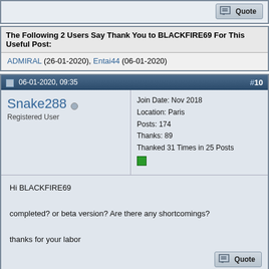[Figure (screenshot): Quote button at top of page (partial post)]
The Following 2 Users Say Thank You to BLACKFIRE69 For This Useful Post:
ADMIRAL (26-01-2020), Entai44 (06-01-2020)
06-01-2020, 09:35  #10
Snake288
Registered User
Join Date: Nov 2018
Location: Paris
Posts: 174
Thanks: 89
Thanked 31 Times in 25 Posts
Hi BLACKFIRE69

completed? or beta version? Are there any shortcomings?

thanks for your labor
06-01-2020, 09:50  #11
Entai44
Registered User
Join Date: Nov 2018
Location: Indonesia
Posts: 49
Thanks: 72
Thanked 29 Times in 18 Posts